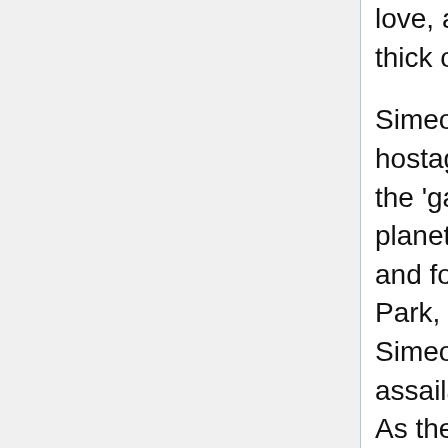love, and the taste for revenge is thick on their tongues.

Simeon acts quickly, taking Park hostage and pulling her through the 'gate onto a nearby desert planet. Rush discovers his trail and follows—he is able to save Park, who was strapped by Simeon to a bomb, but the assailant is nowhere to be seen. As the military personnel proceed through the 'gate to attempt to recover him, they realize how dangerous the Lucian soldier is, and how precarious their own position.

Eli, having been ordered to stay on Destiny in an attempt to stall the countdown clock and give the away team more time, is bucking to hunt down Simeon, but Young grounds him: Before her death, Ginn told Homeworld Command that Simeon had information